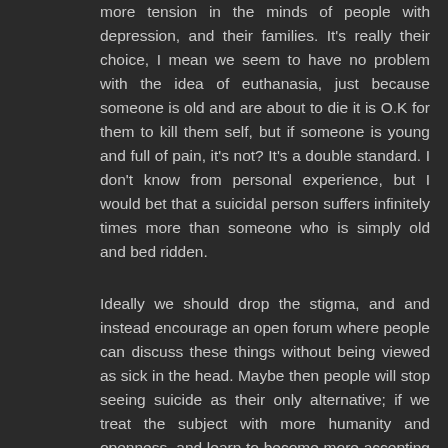more tension in the minds of people with depression, and their families. It's really their choice, I mean we seem to have no problem with the idea of euthanasia, just because someone is old and are about to die it is O.K for them to kill them self, but if someone is young and full of pain, it's not? It's a double standard. I don't know from personal experience, but I would bet that a suicidal person suffers infinitely times more than someone who is simply old and bed ridden.
Ideally we should drop the stigma, and and instead encourage an open forum where people can discuss these things without being viewed as sick in the head. Maybe then people will stop seeing suicide as their only alternative; if we treat the subject with more humanity and openness, and learn to become more accepting of people's thoughts and states